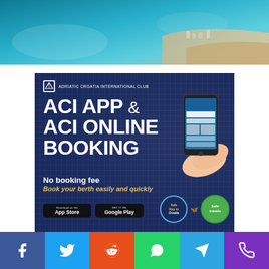[Figure (photo): Aerial photo of Croatian coast/sea — turquoise Adriatic water with coastal landscape visible from above]
[Figure (infographic): ACI App & ACI Online Booking advertisement banner on dark navy background. Shows text: 'ACI APP & ACI ONLINE BOOKING', 'No booking fee', 'Book your berth easily and quickly'. Adriatic Croatia International Club logo at top. App Store and Google Play download buttons. Safe Stay in Croatia and Safe Travels badges. Hand holding smartphone with website displayed.]
[Figure (infographic): Social sharing bar with Facebook, Twitter, Reddit, WhatsApp, Telegram, and Phone icons in colored buttons across the bottom of the page.]